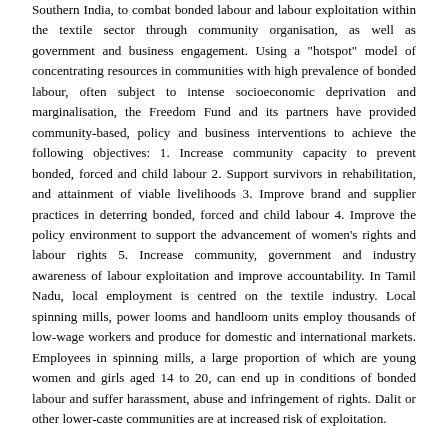Southern India, to combat bonded labour and labour exploitation within the textile sector through community organisation, as well as government and business engagement. Using a "hotspot" model of concentrating resources in communities with high prevalence of bonded labour, often subject to intense socioeconomic deprivation and marginalisation, the Freedom Fund and its partners have provided community-based, policy and business interventions to achieve the following objectives: 1. Increase community capacity to prevent bonded, forced and child labour 2. Support survivors in rehabilitation, and attainment of viable livelihoods 3. Improve brand and supplier practices in deterring bonded, forced and child labour 4. Improve the policy environment to support the advancement of women's rights and labour rights 5. Increase community, government and industry awareness of labour exploitation and improve accountability. In Tamil Nadu, local employment is centred on the textile industry. Local spinning mills, power looms and handloom units employ thousands of low-wage workers and produce for domestic and international markets. Employees in spinning mills, a large proportion of which are young women and girls aged 14 to 20, can end up in conditions of bonded labour and suffer harassment, abuse and infringement of rights. Dalit or other lower-caste communities are at increased risk of exploitation.